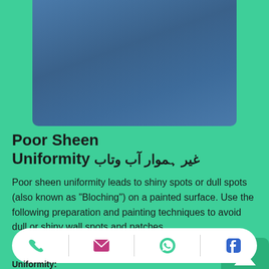[Figure (photo): Blue-gray painted wall surface showing gradient tones, cropped to show top portion of page]
Poor Sheen Uniformity غیر ہموار آب وتاب
Poor sheen uniformity leads to shiny spots or dull spots (also known as "Bloching") on a painted surface. Use the following preparation and painting techniques to avoid dull or shiny wall spots and patches.
[Figure (infographic): Bottom navigation bar with phone, email, WhatsApp, and Facebook icons on white pill-shaped bar, plus a green scroll-to-top button with upward arrow]